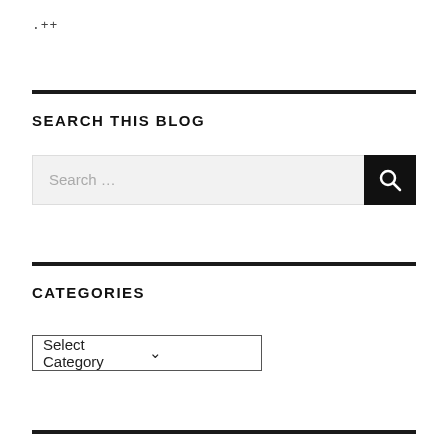.++
SEARCH THIS BLOG
[Figure (screenshot): Search input box with placeholder text 'Search ...' and a black search button with magnifying glass icon]
CATEGORIES
[Figure (screenshot): Dropdown select box with 'Select Category' option and chevron arrow]